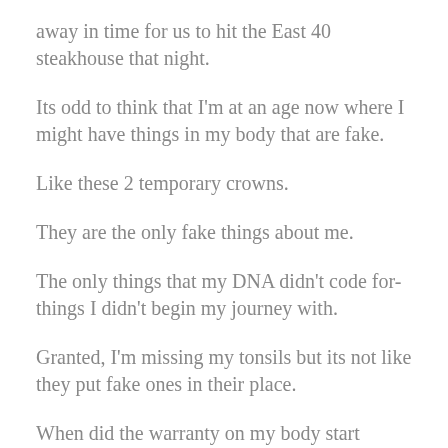away in time for us to hit the East 40 steakhouse that night.
Its odd to think that I'm at an age now where I might have things in my body that are fake.
Like these 2 temporary crowns.
They are the only fake things about me.
The only things that my DNA didn't code for- things I didn't begin my journey with.
Granted, I'm missing my tonsils but its not like they put fake ones in their place.
When did the warranty on my body start running out?
I didn't have much time to ponder this as we